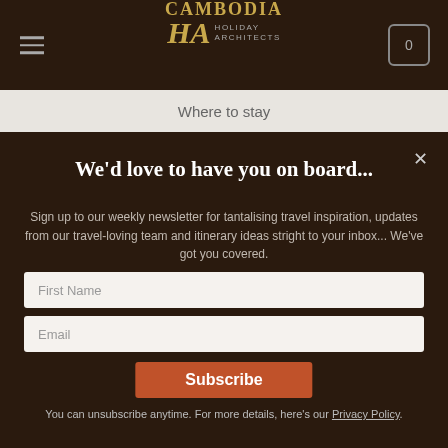[Figure (logo): Cambodia Holiday Architects logo with gold lettering on dark brown header bar, hamburger menu on left, cart icon with 0 on right]
Where to stay
We'd love to have you on board...
Sign up to our weekly newsletter for tantalising travel inspiration, updates from our travel-loving team and itinerary ideas stright to your inbox... We've got you covered.
First Name
Email
Subscribe
You can unsubscribe anytime. For more details, here's our Privacy Policy.